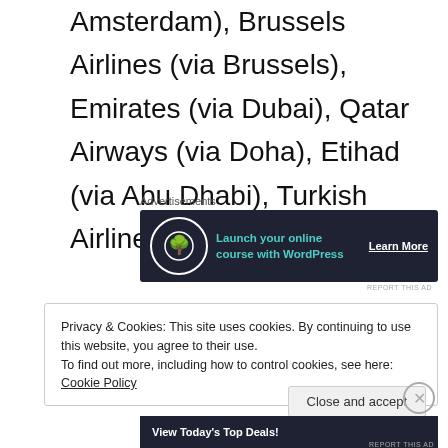routes, options include KLM (via Amsterdam), Brussels Airlines (via Brussels), Emirates (via Dubai), Qatar Airways (via Doha), Etihad (via Abu Dhabi), Turkish Airlines (via Istabul).
Advertisements
[Figure (other): Dark banner advertisement: 'Launch your online course with WordPress' with a circular tree logo icon and a 'Learn More' call-to-action button.]
REPORT THIS AD
Privacy & Cookies: This site uses cookies. By continuing to use this website, you agree to their use.
To find out more, including how to control cookies, see here: Cookie Policy
Close and accept
[Figure (other): Bottom advertisement bar with text 'View Today's Top Deals!' on a dark background.]